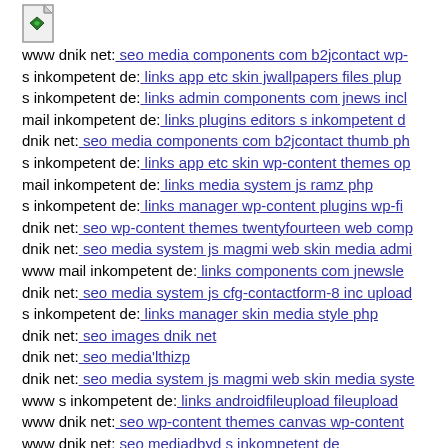[Figure (illustration): Small document/page icon with a green diamond/shield emblem]
www dnik net: seo media components com b2jcontact wp-...
s inkompetent de: links app etc skin jwallpapers files plup...
s inkompetent de: links admin components com jnews incl...
mail inkompetent de: links plugins editors s inkompetent d...
dnik net: seo media components com b2jcontact thumb ph...
s inkompetent de: links app etc skin wp-content themes op...
mail inkompetent de: links media system js ramz php
s inkompetent de: links manager wp-content plugins wp-fi...
dnik net: seo wp-content themes twentyfourteen web comp...
dnik net: seo media system js magmi web skin media admi...
www mail inkompetent de: links components com jnewsle...
dnik net: seo media system js cfg-contactform-8 inc upload...
s inkompetent de: links manager skin media style php
dnik net: seo images dnik net
dnik net: seo media'lthizp
dnik net: seo media system js magmi web skin media syste...
www s inkompetent de: links androidfileupload fileupload...
www dnik net: seo wp-content themes canvas wp-content ...
www dnik net: seo mediadbyd s inkompetent de